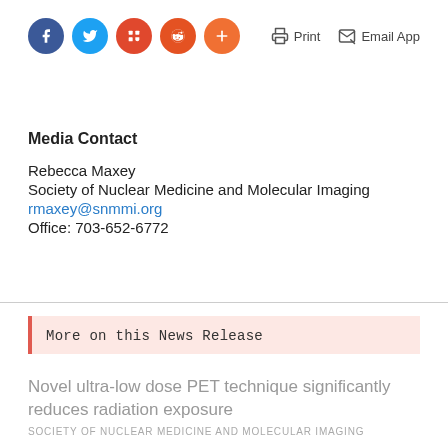[Figure (other): Social sharing icons: Facebook (blue circle), Twitter (blue circle), Mix (red circle), Reddit (orange-red circle), Plus/share (orange circle). On the right: Print and Email App icons with labels.]
Media Contact
Rebecca Maxey
Society of Nuclear Medicine and Molecular Imaging
rmaxey@snmmi.org
Office: 703-652-6772
More on this News Release
Novel ultra-low dose PET technique significantly reduces radiation exposure
SOCIETY OF NUCLEAR MEDICINE AND MOLECULAR IMAGING